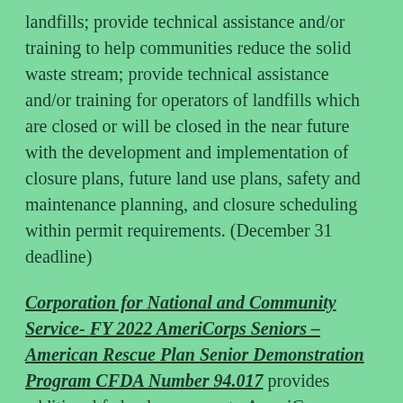landfills; provide technical assistance and/or training to help communities reduce the solid waste stream; provide technical assistance and/or training for operators of landfills which are closed or will be closed in the near future with the development and implementation of closure plans, future land use plans, safety and maintenance planning, and closure scheduling within permit requirements. (December 31 deadline)
Corporation for National and Community Service- FY 2022 AmeriCorps Seniors – American Rescue Plan Senior Demonstration Program CFDA Number 94.017 provides additional federal resources to AmeriCorps Seniors in order to assist communities in COVID-19 recovery. This funding will be made available